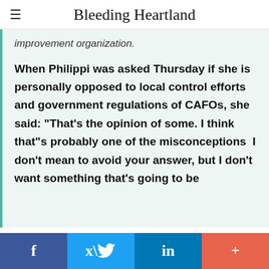Bleeding Heartland
improvement organization.
When Philippi was asked Thursday if she is personally opposed to local control efforts and government regulations of CAFOs, she said: "That's the opinion of some. I think that"s probably one of the misconceptions  I don't mean to avoid your answer, but I don't want something that's going to be
f  [Twitter bird]  in  +